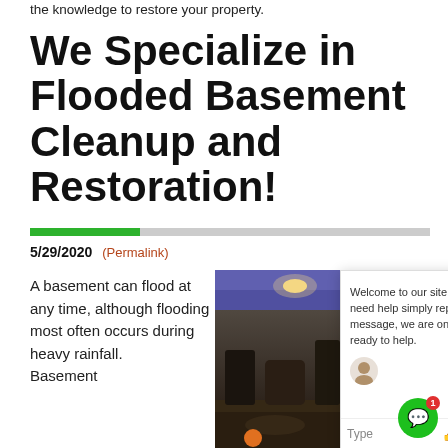the knowledge to restore your property.
We Specialize in Flooded Basement Cleanup and Restoration!
5/29/2020 (Permalink)
A basement can flood at any time, although flooding most often occurs during heavy rainfall. Basement
[Figure (photo): Flooded basement interior with furniture and water on the floor, with a chat widget overlay and a green circle button in the bottom right]
Welcome to our site, if you need help simply reply to this message, we are online and ready to help.